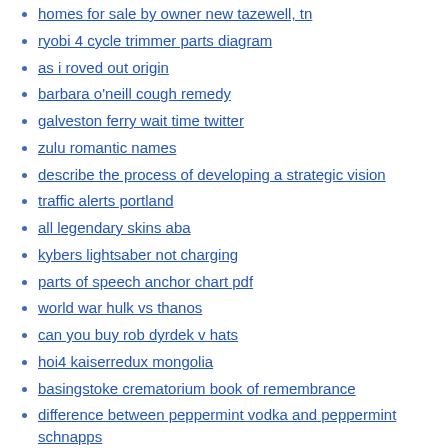homes for sale by owner new tazewell, tn
ryobi 4 cycle trimmer parts diagram
as i roved out origin
barbara o'neill cough remedy
galveston ferry wait time twitter
zulu romantic names
describe the process of developing a strategic vision
traffic alerts portland
all legendary skins aba
kybers lightsaber not charging
parts of speech anchor chart pdf
world war hulk vs thanos
can you buy rob dyrdek v hats
hoi4 kaiserredux mongolia
basingstoke crematorium book of remembrance
difference between peppermint vodka and peppermint schnapps
criminal trespassing 1st degree ky
2021 lincoln nautilus problems
old talking angela
unisource escrow santa ana
warframe companion link mods
mirth what one needs a sense of crossword